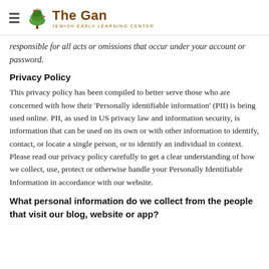The Gan — Jewish Early Learning Center
responsible for all acts or omissions that occur under your account or password.
Privacy Policy
This privacy policy has been compiled to better serve those who are concerned with how their 'Personally identifiable information' (PII) is being used online. PII, as used in US privacy law and information security, is information that can be used on its own or with other information to identify, contact, or locate a single person, or to identify an individual in context. Please read our privacy policy carefully to get a clear understanding of how we collect, use, protect or otherwise handle your Personally Identifiable Information in accordance with our website.
What personal information do we collect from the people that visit our blog, website or app?